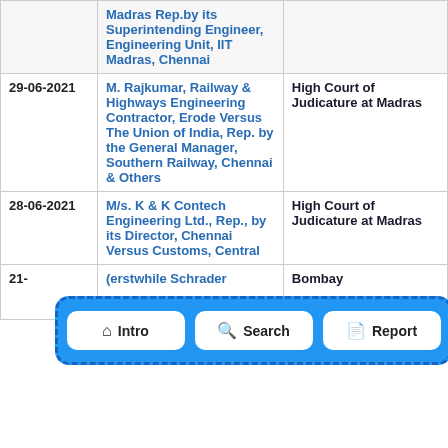| Date | Case | Court |
| --- | --- | --- |
|  | Madras Rep.by its Superintending Engineer, Engineering Unit, IIT Madras, Chennai |  |
| 29-06-2021 | M. Rajkumar, Railway & Highways Engineering Contractor, Erode Versus The Union of India, Rep. by the General Manager, Southern Railway, Chennai & Others | High Court of Judicature at Madras |
| 28-06-2021 | M/s. K & K Contech Engineering Ltd., Rep., by its Director, Chennai Versus Customs, Central | High Court of Judicature at Madras |
| 21- | (erstwhile Schrader | Bombay |
[Figure (infographic): Navigation bar with three buttons: Intro (home icon), Search (search icon), Report (document icon). Blue background with dashed border.]